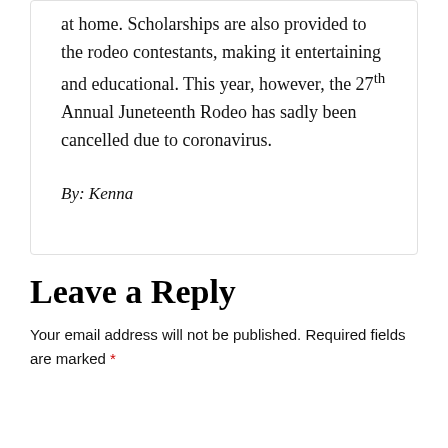at home. Scholarships are also provided to the rodeo contestants, making it entertaining and educational. This year, however, the 27th Annual Juneteenth Rodeo has sadly been cancelled due to coronavirus.
By: Kenna
Leave a Reply
Your email address will not be published. Required fields are marked *